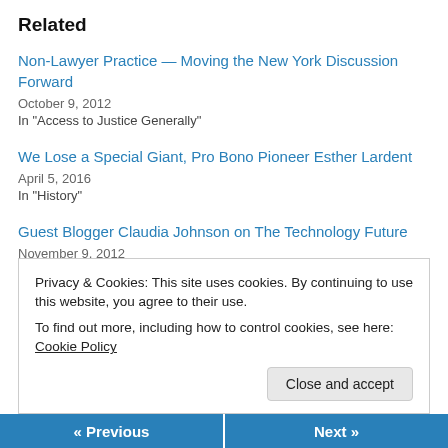Related
Non-Lawyer Practice — Moving the New York Discussion Forward
October 9, 2012
In "Access to Justice Generally"
We Lose a Special Giant, Pro Bono Pioneer Esther Lardent
April 5, 2016
In "History"
Guest Blogger Claudia Johnson on The Technology Future
November 9, 2012
In "Guest Bloggers"
Privacy & Cookies: This site uses cookies. By continuing to use this website, you agree to their use.
To find out more, including how to control cookies, see here: Cookie Policy
« Previous   Next »